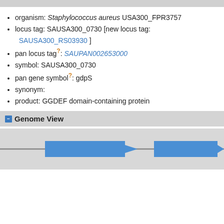organism: Staphylococcus aureus USA300_FPR3757
locus tag: SAUSA300_0730 [new locus tag: SAUSA300_RS03930 ]
pan locus tag?: SAUPAN002653000
symbol: SAUSA300_0730
pan gene symbol?: gdpS
synonym:
product: GGDEF domain-containing protein
Genome View
[Figure (schematic): Genome view showing two blue rightward-pointing gene arrows on a horizontal gray line, representing gene locations on the chromosome.]